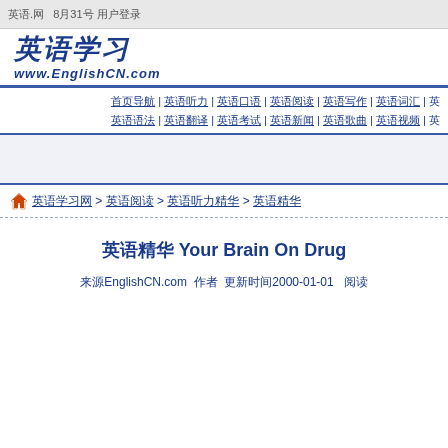英语.网 8月31号 用户登录
[Figure (logo): 英语学习 www.EnglishCN.com logo]
首页导航 | 英语听力 | 英语口语 | 英语阅读 | 英语写作 | 英语词汇 | 英 英语语法 | 英语翻译 | 英语考试 | 英语新闻 | 英语歌曲 | 英语视频 | 英
英语学习网 > 英语阅读 > 英语听力精华 > 英语精华
英语精华 Your Brain On Drug
来源EnglishCN.com 作者 更新时间2000-01-01  阅读